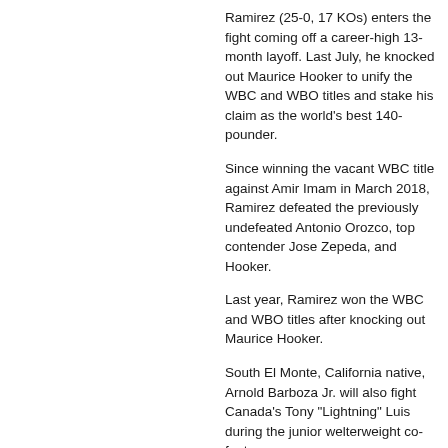Ramirez (25-0, 17 KOs) enters the fight coming off a career-high 13-month layoff. Last July, he knocked out Maurice Hooker to unify the WBC and WBO titles and stake his claim as the world's best 140-pounder.
Since winning the vacant WBC title against Amir Imam in March 2018, Ramirez defeated the previously undefeated Antonio Orozco, top contender Jose Zepeda, and Hooker.
Last year, Ramirez won the WBC and WBO titles after knocking out Maurice Hooker.
South El Monte, California native, Arnold Barboza Jr. will also fight Canada's Tony "Lightning" Luis during the junior welterweight co-feature.
Jose Carlos Ramirez is a American professional boxer.
Ramirez remains undefeated as a professional.
The last fight of Jose Carlos Ramirez took place on July 27, 2019 against Maurice HookerMaurice Hooker. Ramirez won by technical knockout